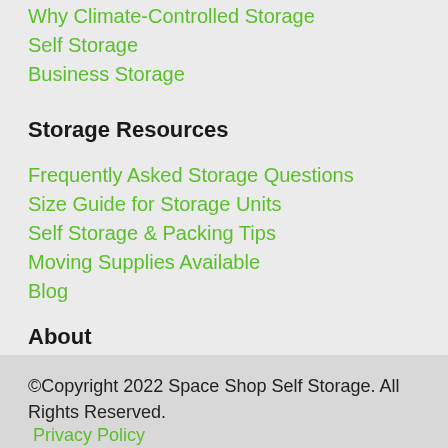Why Climate-Controlled Storage
Self Storage
Business Storage
Storage Resources
Frequently Asked Storage Questions
Size Guide for Storage Units
Self Storage & Packing Tips
Moving Supplies Available
Blog
About
About Us
Contact Space Shop
©Copyright 2022 Space Shop Self Storage. All Rights Reserved.
Privacy Policy